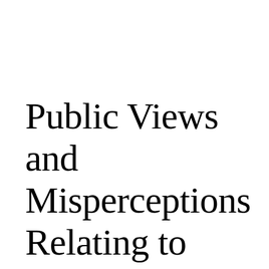Public Views and Misperceptions Relating to Organic Food: Terminology And